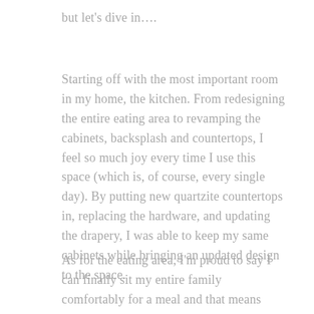but let's dive in....
Starting off with the most important room in my home, the kitchen. From redesigning the entire eating area to revamping the cabinets, backsplash and countertops, I feel so much joy every time I use this space (which is, of course, every single day). By putting new quartzite countertops in, replacing the hardware, and updating the drapery, I was able to keep my same cabinets while bringing an updated design to the space.
As for the eating area, I'm proud to say I can finally sit my entire family comfortably for a meal and that means